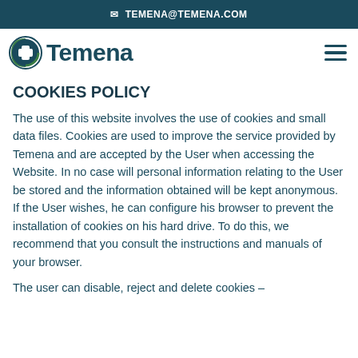✉ TEMENA@TEMENA.COM
[Figure (logo): Temena logo with circular medical cross icon and company name]
COOKIES POLICY
The use of this website involves the use of cookies and small data files. Cookies are used to improve the service provided by Temena and are accepted by the User when accessing the Website. In no case will personal information relating to the User be stored and the information obtained will be kept anonymous. If the User wishes, he can configure his browser to prevent the installation of cookies on his hard drive. To do this, we recommend that you consult the instructions and manuals of your browser.
The user can disable, reject and delete cookies –